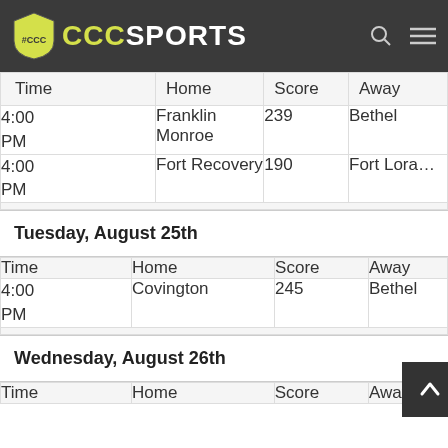CCC CCCSPORTS
| Time | Home | Score | Away |
| --- | --- | --- | --- |
| 4:00 PM | Franklin Monroe | 239 | Bethel |
| 4:00 PM | Fort Recovery | 190 | Fort Loramie |
Tuesday, August 25th
| Time | Home | Score | Away |
| --- | --- | --- | --- |
| 4:00 PM | Covington | 245 | Bethel |
Wednesday, August 26th
| Time | Home | Score | Away |
| --- | --- | --- | --- |